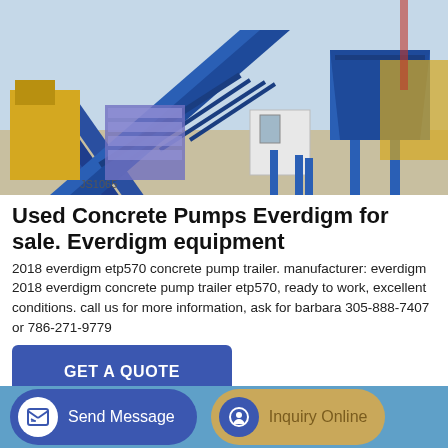[Figure (photo): Photograph of a large blue Everdigm concrete pump trailer/batching plant on a concrete yard, with yellow machinery and construction equipment visible in the background.]
Used Concrete Pumps Everdigm for sale. Everdigm equipment
2018 everdigm etp570 concrete pump trailer. manufacturer: everdigm 2018 everdigm concrete pump trailer etp570, ready to work, excellent conditions. call us for more information, ask for barbara 305-888-7407 or 786-271-9779
GET A QUOTE
Send Message
Inquiry Online